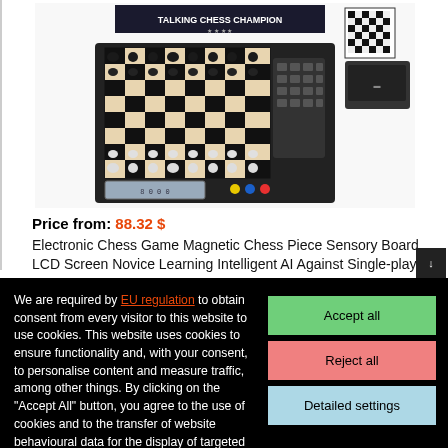[Figure (photo): Product photo of Talking Chess Champion electronic chess board with magnetic pieces, LCD screen, and checkerboard. Box and accessories shown in background.]
Price from: 88.32 $
Electronic Chess Game Magnetic Chess Piece Sensory Board LCD Screen Novice Learning Intelligent AI Against Single-player Chess
We are required by EU regulation to obtain consent from every visitor to this website to use cookies. This website uses cookies to ensure functionality and, with your consent, to personalise content and measure traffic, among other things. By clicking on the "Accept All" button, you agree to the use of cookies and to the transfer of website behavioural data for the display of targeted advertising on social networks, advertising networks on other sites.